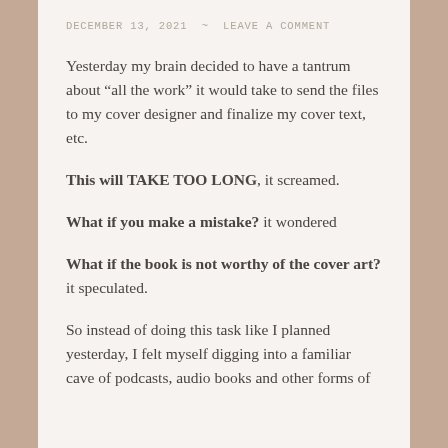DECEMBER 13, 2021  ~  LEAVE A COMMENT
Yesterday my brain decided to have a tantrum about “all the work” it would take to send the files to my cover designer and finalize my cover text, etc.
This will TAKE TOO LONG, it screamed.
What if you make a mistake? it wondered
What if the book is not worthy of the cover art? it speculated.
So instead of doing this task like I planned yesterday, I felt myself digging into a familiar cave of podcasts, audio books and other forms of